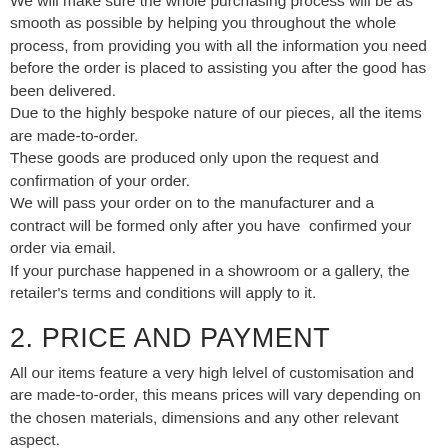We will make sure the whole purchasing process will be as smooth as possible by helping you throughout the whole process, from providing you with all the information you need before the order is placed to assisting you after the good has been delivered. Due to the highly bespoke nature of our pieces, all the items are made-to-order. These goods are produced only upon the request and confirmation of your order. We will pass your order on to the manufacturer and a contract will be formed only after you have confirmed your order via email. If your purchase happened in a showroom or a gallery, the retailer's terms and conditions will apply to it.
2. PRICE AND PAYMENT
All our items feature a very high lelvel of customisation and are made-to-order, this means prices will vary depending on the chosen materials, dimensions and any other relevant aspect.